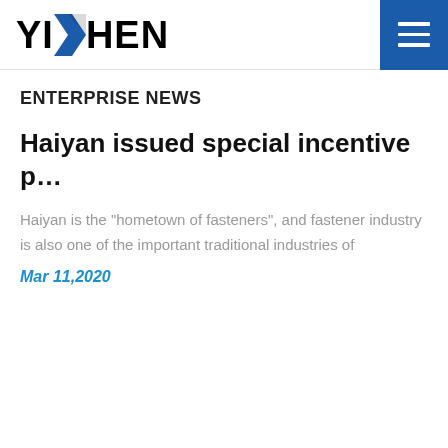YIKHEN
ENTERPRISE NEWS
Haiyan issued special incentive p…
Haiyan is the "hometown of fasteners", and fastener industry is also one of the important traditional industries of
Mar 11,2020